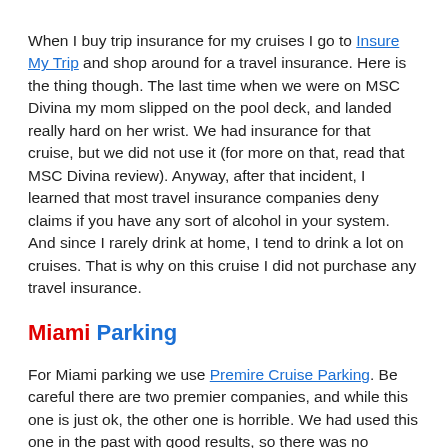When I buy trip insurance for my cruises I go to Insure My Trip and shop around for a travel insurance. Here is the thing though. The last time when we were on MSC Divina my mom slipped on the pool deck, and landed really hard on her wrist. We had insurance for that cruise, but we did not use it (for more on that, read that MSC Divina review). Anyway, after that incident, I learned that most travel insurance companies deny claims if you have any sort of alcohol in your system. And since I rarely drink at home, I tend to drink a lot on cruises. That is why on this cruise I did not purchase any travel insurance.
Miami Parking
For Miami parking we use Premire Cruise Parking. Be careful there are two premier companies, and while this one is just ok, the other one is horrible. We had used this one in the past with good results, so there was no reason not to use them again and save a few bucks. The only issue here is that they claim that they